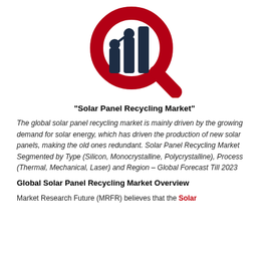[Figure (logo): Market Research Future logo: a dark navy bar chart with a magnifying glass ring in dark red/crimson, with a small chain-link or person icon overlay, forming a circular search/analytics logo.]
“Solar Panel Recycling Market”
The global solar panel recycling market is mainly driven by the growing demand for solar energy, which has driven the production of new solar panels, making the old ones redundant. Solar Panel Recycling Market Segmented by Type (Silicon, Monocrystalline, Polycrystalline), Process (Thermal, Mechanical, Laser) and Region – Global Forecast Till 2023
Global Solar Panel Recycling Market Overview
Market Research Future (MRFR) believes that the Solar